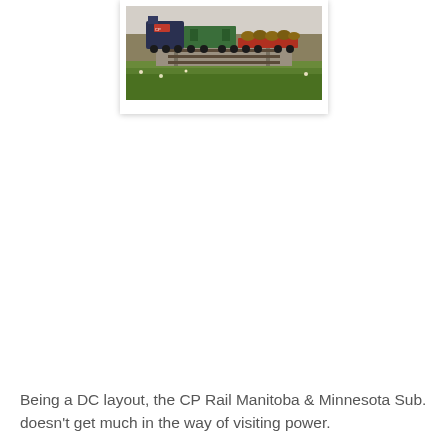[Figure (photo): A model railroad scene showing a CP Rail locomotive pulling freight cars including a green boxcar and a red flatcar loaded with logs, on tracks with realistic grass and ballast scenery.]
Being a DC layout, the CP Rail Manitoba & Minnesota Sub. doesn't get much in the way of visiting power.